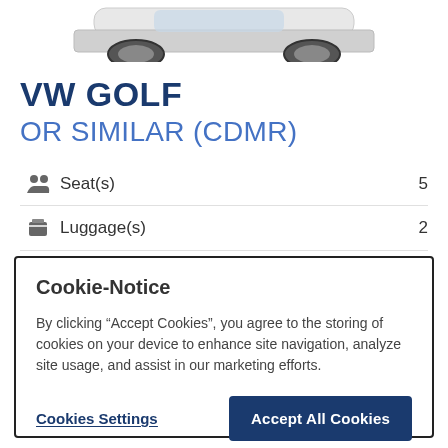[Figure (photo): Partial view of white Volkswagen Golf car from above, showing the roof and top portion against white background]
VW GOLF
OR SIMILAR (CDMR)
Seat(s)   5
Luggage(s)   2
Door(s)   5
Transmition   M
Cookie-Notice
By clicking “Accept Cookies”, you agree to the storing of cookies on your device to enhance site navigation, analyze site usage, and assist in our marketing efforts.
Cookies Settings   Accept All Cookies